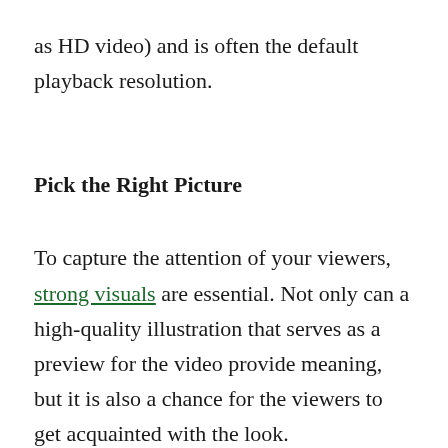as HD video) and is often the default playback resolution.
Pick the Right Picture
To capture the attention of your viewers, strong visuals are essential. Not only can a high-quality illustration that serves as a preview for the video provide meaning, but it is also a chance for the viewers to get acquainted with the look.
For example, Matt Komo is a videographer, and he is doing very well with his content on